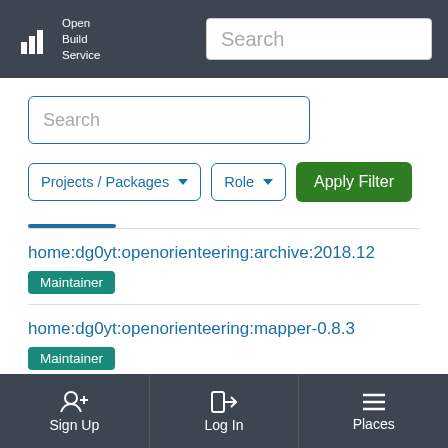Open Build Service — Search
[Figure (screenshot): Search input field with placeholder text 'Search']
[Figure (screenshot): Filter dropdowns: 'Projects / Packages' and 'Role', plus 'Apply Filter' green button]
home:dg0yt:openorienteering:archive:2018.12 — Maintainer
home:dg0yt:openorienteering:mapper-0.8.3 — Maintainer
Sign Up   Log In   Places